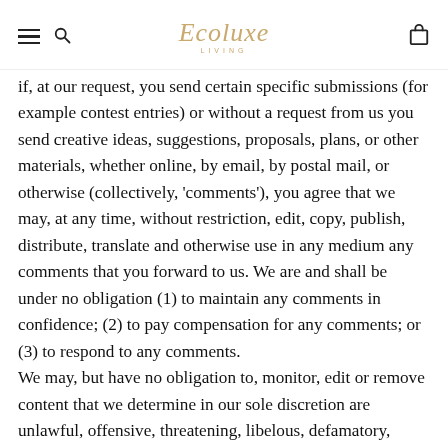Ecoluxe Living
if, at our request, you send certain specific submissions (for example contest entries) or without a request from us you send creative ideas, suggestions, proposals, plans, or other materials, whether online, by email, by postal mail, or otherwise (collectively, 'comments'), you agree that we may, at any time, without restriction, edit, copy, publish, distribute, translate and otherwise use in any medium any comments that you forward to us. We are and shall be under no obligation (1) to maintain any comments in confidence; (2) to pay compensation for any comments; or (3) to respond to any comments. We may, but have no obligation to, monitor, edit or remove content that we determine in our sole discretion are unlawful, offensive, threatening, libelous, defamatory, pornographic, obscene or otherwise objectionable or violates any party's intellectual property or these Terms of